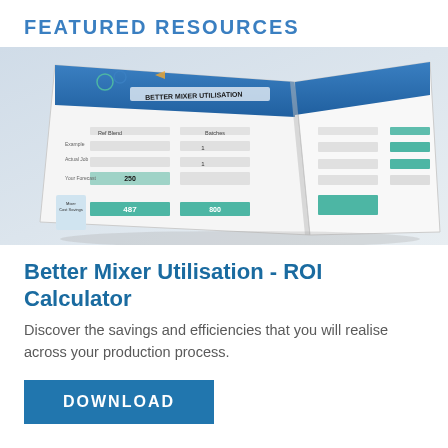FEATURED RESOURCES
[Figure (photo): Photograph of an open brochure booklet showing a 'Better Mixer Utilisation Savings Calculator' worksheet with tables, input fields, diagrams of mixer components, and teal-highlighted result cells. The pages are fanned open showing multiple worksheets including flowcharts and ROI calculation tables.]
Better Mixer Utilisation - ROI Calculator
Discover the savings and efficiencies that you will realise across your production process.
DOWNLOAD